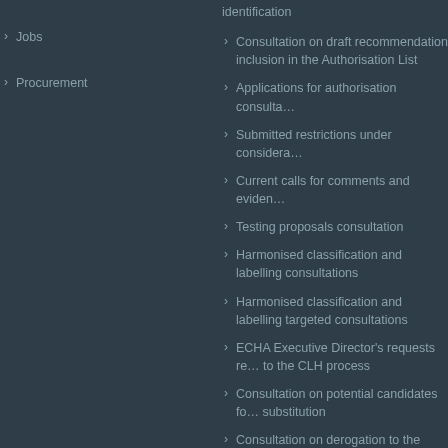Jobs
Procurement
identification
Consultation on draft recommendation inclusion in the Authorisation List
Applications for authorisation consulta…
Submitted restrictions under considera…
Current calls for comments and eviden…
Testing proposals consultation
Harmonised classification and labelling consultations
Harmonised classification and labelling targeted consultations
ECHA Executive Director's requests re… to the CLH process
Consultation on potential candidates fo… substitution
Consultation on derogation to the exclu… criteria